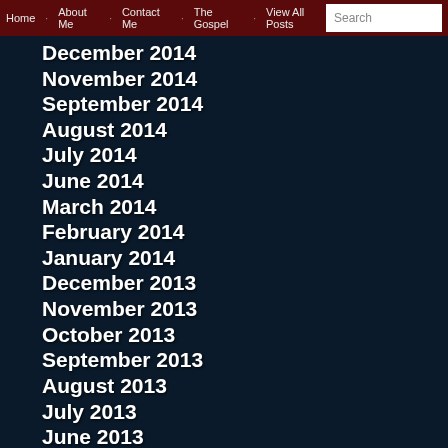Home · About Me · Contact Me · The Gospel · View All Posts | Search
December 2014
November 2014
September 2014
August 2014
July 2014
June 2014
March 2014
February 2014
January 2014
December 2013
November 2013
October 2013
September 2013
August 2013
July 2013
June 2013
April 2013
March 2013
January 2013
December 2012
September 2012